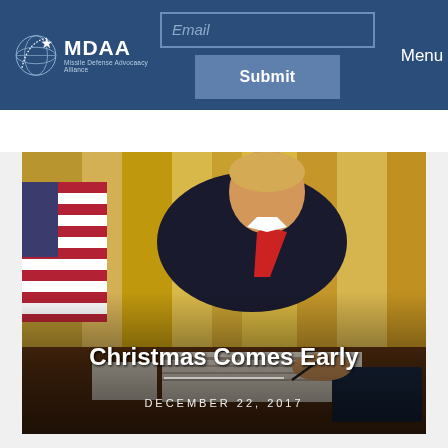MDAA Missile Defense Advocacy Alliance — Email / Submit / Menu
[Figure (photo): President signing documents at desk in the Oval Office, with American flag and gold curtains in background. Text overlay: 'Christmas Comes Early' and 'DECEMBER 22, 2017']
Christmas Comes Early
DECEMBER 22, 2017